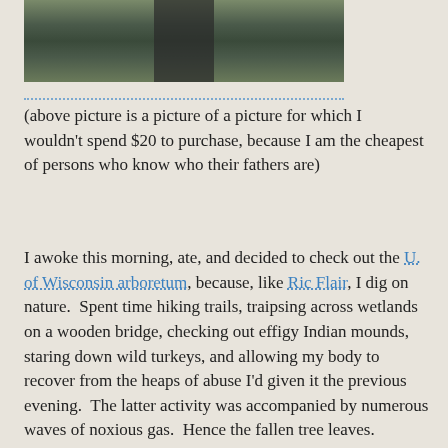[Figure (photo): A blurry outdoor photo showing dark figures and green foliage/trees, appears to be taken at night or in low light]
(above picture is a picture of a picture for which I wouldn't spend $20 to purchase, because I am the cheapest of persons who know who their fathers are)
I awoke this morning, ate, and decided to check out the U. of Wisconsin arboretum, because, like Ric Flair, I dig on nature.  Spent time hiking trails, traipsing across wetlands on a wooden bridge, checking out effigy Indian mounds, staring down wild turkeys, and allowing my body to recover from the heaps of abuse I'd given it the previous evening.  The latter activity was accompanied by numerous waves of noxious gas.  Hence the fallen tree leaves.